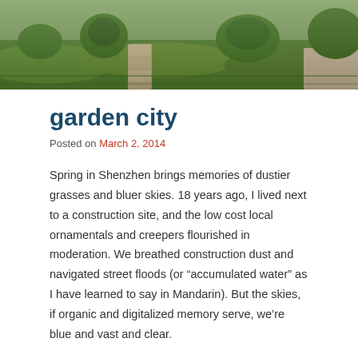[Figure (photo): Outdoor garden or park scene with green grass, stone pathway, and lush greenery. Photo banner at top of page.]
garden city
Posted on March 2, 2014
Spring in Shenzhen brings memories of dustier grasses and bluer skies. 18 years ago, I lived next to a construction site, and the low cost local ornamentals and creepers flourished in moderation. We breathed construction dust and navigated street floods (or “accumulated water” as I have learned to say in Mandarin). But the skies, if organic and digitalized memory serve, we’re blue and vast and clear.
Yesterday I ate brunch on the Intercontinental patio and had an afternoon tea-becomes-dinner meeting at 1 Haiguan Rd. Once upon a developmental time, both were located near Shenzhen Bay. When built in 1982, the Intercontinental perched near coastal oyster beds and provided visitors and investors in the OCT and Sheho Industrial…